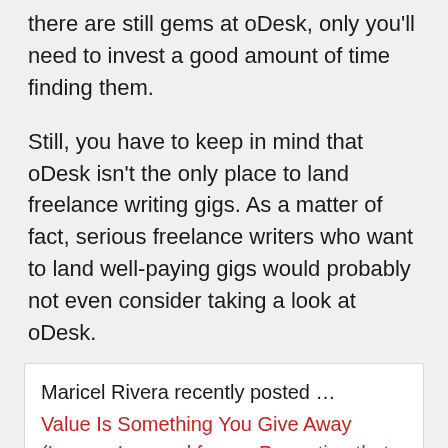there are still gems at oDesk, only you'll need to invest a good amount of time finding them.
Still, you have to keep in mind that oDesk isn't the only place to land freelance writing gigs. As a matter of fact, serious freelance writers who want to land well-paying gigs would probably not even consider taking a look at oDesk.
Maricel Rivera recently posted … Value Is Something You Give Away (Lesson Learned from a Promotion that Almost Never Came)